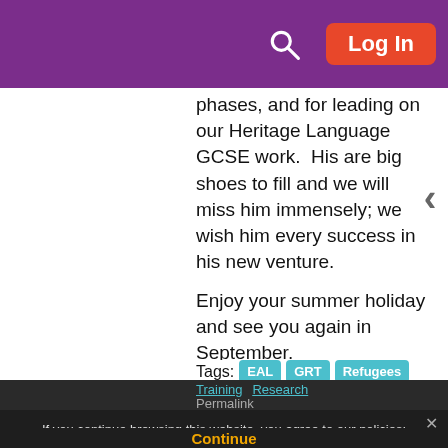Log In
phases, and for leading on our Heritage Language GCSE work.  His are big shoes to fill and we will miss him immensely; we wish him every success in his new venture.
Enjoy your summer holiday and see you again in September.
Data correct as of 30.06.2022
Word cloud generated on WordArt.com
Tags:  EAL  GRT  Refugees  SEND  Persona dolls  UASC  Young Interpreters  Heritage Languages
Training  Research
Permalink
[ Modified: Monday, 4 July 2022, 3:06 PM ]
Comments
If you continue browsing this website, you agree to our policies:
Continue